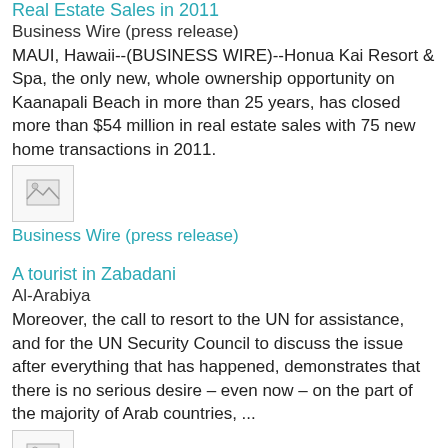Real Estate Sales in 2011
Business Wire (press release)
MAUI, Hawaii--(BUSINESS WIRE)--Honua Kai Resort & Spa, the only new, whole ownership opportunity on Kaanapali Beach in more than 25 years, has closed more than $54 million in real estate sales with 75 new home transactions in 2011.
[Figure (other): Thumbnail image placeholder]
Business Wire (press release)
A tourist in Zabadani
Al-Arabiya
Moreover, the call to resort to the UN for assistance, and for the UN Security Council to discuss the issue after everything that has happened, demonstrates that there is no serious desire – even now – on the part of the majority of Arab countries, ...
[Figure (other): Thumbnail image placeholder]
Al-Arabiya
Resort in Curacao Welcomes Starbucks and New Okeanos